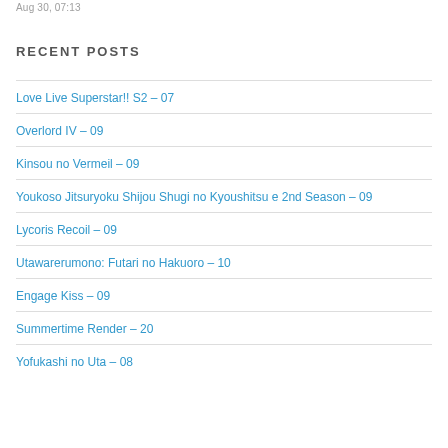Aug 30, 07:13
RECENT POSTS
Love Live Superstar!! S2 – 07
Overlord IV – 09
Kinsou no Vermeil – 09
Youkoso Jitsuryoku Shijou Shugi no Kyoushitsu e 2nd Season – 09
Lycoris Recoil – 09
Utawarerumono: Futari no Hakuoro – 10
Engage Kiss – 09
Summertime Render – 20
Yofukashi no Uta – 08